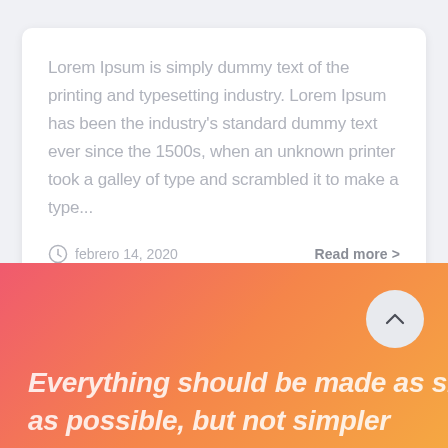Lorem Ipsum is simply dummy text of the printing and typesetting industry. Lorem Ipsum has been the industry's standard dummy text ever since the 1500s, when an unknown printer took a galley of type and scrambled it to make a type...
febrero 14, 2020
Read more >
Everything should be made as simple as possible, but not simpler